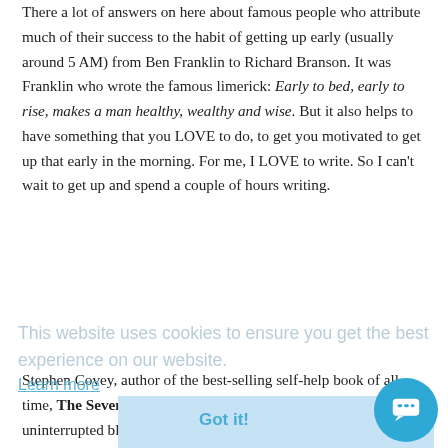There a lot of answers on here about famous people who attribute much of their success to the habit of getting up early (usually around 5 AM) from Ben Franklin to Richard Branson. It was Franklin who wrote the famous limerick: Early to bed, early to rise, makes a man healthy, wealthy and wise. But it also helps to have something that you LOVE to do, to get you motivated to get up that early in the morning. For me, I LOVE to write. So I can't wait to get up and spend a couple of hours writing.
This website uses cookies to ensure you get the best experience on our website.
Learn more
Stephen Covey, author of the best-selling self-help book of all time, The Seven Habits of Effective People, wrote that finding uninterrupted blocks of time – where you can really focus on things that are important to you (like writing is for me) - was the key to